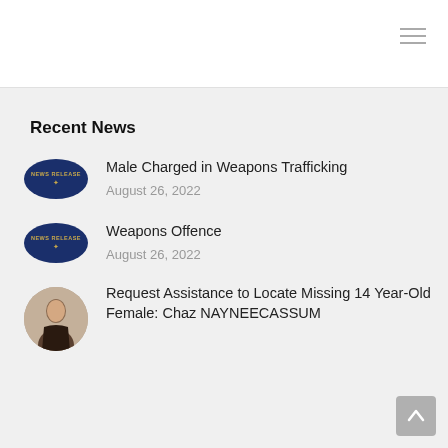Recent News
Male Charged in Weapons Trafficking
August 26, 2022
Weapons Offence
August 26, 2022
Request Assistance to Locate Missing 14 Year-Old Female: Chaz NAYNEECASSUM